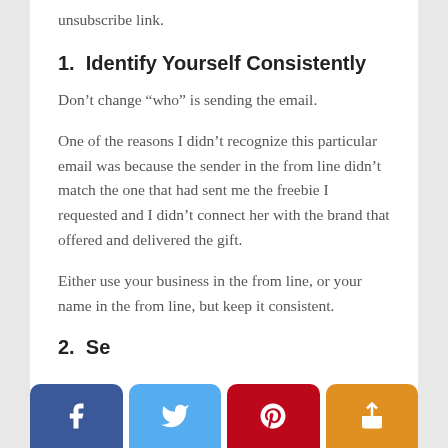unsubscribe link.
1.  Identify Yourself Consistently
Don’t change “who” is sending the email.
One of the reasons I didn’t recognize this particular email was because the sender in the from line didn’t match the one that had sent me the freebie I requested and I didn’t connect her with the brand that offered and delivered the gift.
Either use your business in the from line, or your name in the from line, but keep it consistent.
2.  Se…
[Figure (infographic): Social sharing bar with four buttons: Facebook (blue), Twitter (light blue), Pinterest (red), and Share (orange), partially visible at the bottom of the page.]